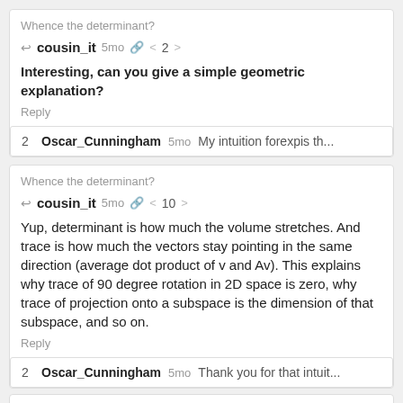Whence the determinant?
cousin_it  5mo  2
Interesting, can you give a simple geometric explanation?
Reply
2  Oscar_Cunningham  5mo  My intuition forexpis th...
Whence the determinant?
cousin_it  5mo  10
Yup, determinant is how much the volume stretches. And trace is how much the vectors stay pointing in the same direction (average dot product of v and Av). This explains why trace of 90 degree rotation in 2D space is zero, why trace of projection onto a subspace is the dimension of that subspace, and so on.
Reply
2  Oscar_Cunningham  5mo  Thank you for that intuit...
Bear Surprise Freedom Network